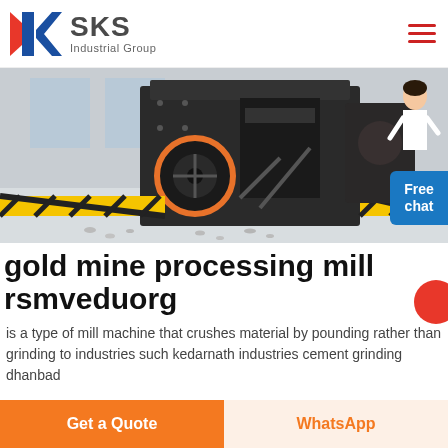[Figure (logo): SKS Industrial Group logo with red and blue K graphic mark and bold SKS text with 'Industrial Group' subtitle]
[Figure (photo): Industrial machinery - a large black jaw crusher/mill machine with orange-rimmed flywheel in a factory setting with gravel floor and yellow-black safety barriers]
gold mine processing mill rsmveduorg
is a type of mill machine that crushes material by pounding rather than grinding to industries such kedarnath industries cement grinding dhanbad
Get a Quote
WhatsApp